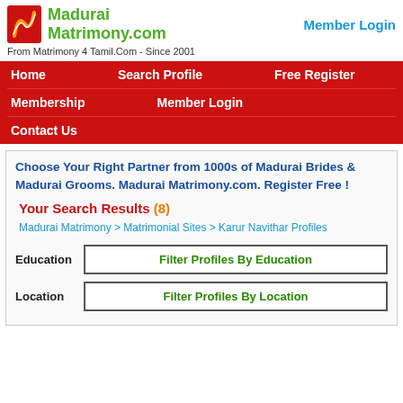[Figure (logo): Madurai Matrimony.com logo with red icon and green text]
Member Login
From Matrimony 4 Tamil.Com - Since 2001
Home    Search Profile    Free Register
Membership    Member Login
Contact Us
Choose Your Right Partner from 1000s of Madurai Brides & Madurai Grooms. Madurai Matrimony.com. Register Free !
Your Search Results (8)
Madurai Matrimony > Matrimonial Sites > Karur Navithar Profiles
Education   Filter Profiles By Education
Location   Filter Profiles By Location